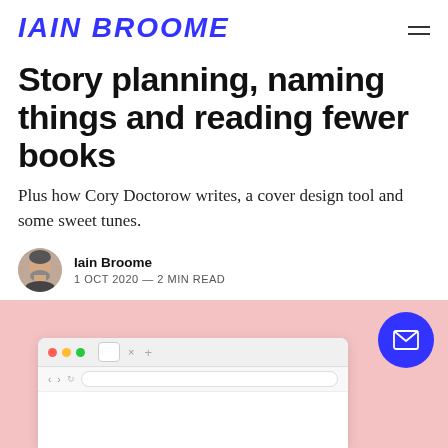IAIN BROOME
Story planning, naming things and reading fewer books
Plus how Cory Doctorow writes, a cover design tool and some sweet tunes.
Iain Broome
1 OCT 2020 — 2 MIN READ
[Figure (screenshot): Browser window screenshot showing a web page with pink background, displayed inside a macOS-style browser window with red/yellow/green traffic light buttons and navigation controls.]